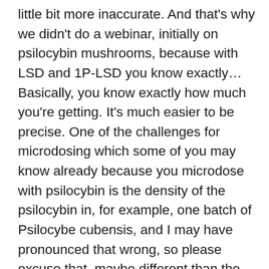little bit more inaccurate. And that's why we didn't do a webinar, initially on psilocybin mushrooms, because with LSD and 1P-LSD you know exactly... Basically, you know exactly how much you're getting. It's much easier to be precise. One of the challenges for microdosing which some of you may know already because you microdose with psilocybin is the density of the psilocybin in, for example, one batch of Psilocybe cubensis, and I may have pronounced that wrong, so please excuse that, maybe different than the density of the psilocybin from another batch of cubensis. So for example, if you're microdosing with 0.2 grams of mushrooms consistently, you might notice some slight fluctuations in how you're feeling, directly because psilocybin mushrooms are a little less accurate in terms of their accessibility